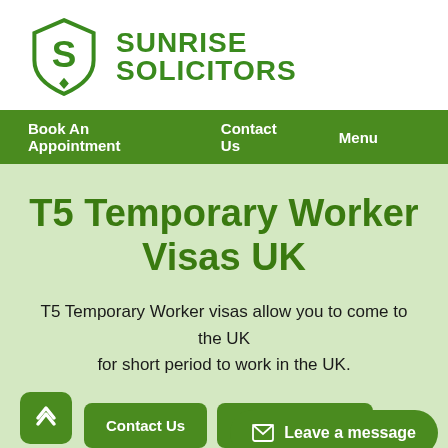[Figure (logo): Sunrise Solicitors logo with green shield containing letter S and text SUNRISE SOLICITORS]
Book An Appointment   Contact Us   Menu
T5 Temporary Worker Visas UK
T5 Temporary Worker visas allow you to come to the UK for short period to work in the UK.